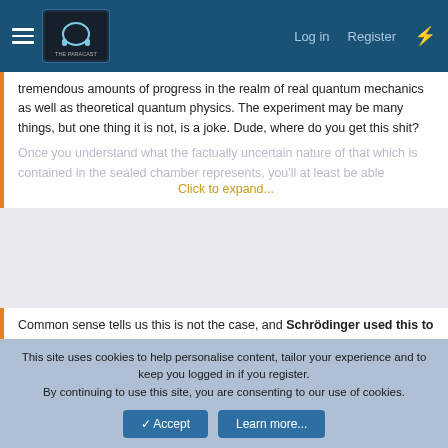The Paracast — Log in — Register
tremendous amounts of progress in the realm of real quantum mechanics as well as theoretical quantum physics. The experiment may be many things, but one thing it is not, is a joke. Dude, where do you get this shit?
Once you understand what the factually uncertain nature of that which is contained in the sealed chamber represents, you'll at least be able...
Click to expand...
Common sense tells us this is not the case, and Schrödinger used this to highlight the limits of the Copenhagen interpretation when applied to practical situations. The cat is actually either dead or alive, whether or not it has been observed.
This site uses cookies to help personalise content, tailor your experience and to keep you logged in if you register.
By continuing to use this site, you are consenting to our use of cookies.